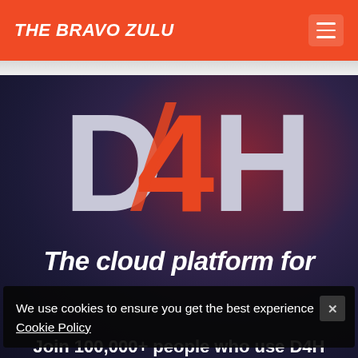THE BRAVO ZULU
[Figure (logo): D4H logo with large white 'D', orange '4', and white 'H' letters on dark gradient background]
The cloud platform for
We use cookies to ensure you get the best experience Cookie Policy
Join 100,000+ people who use D4H